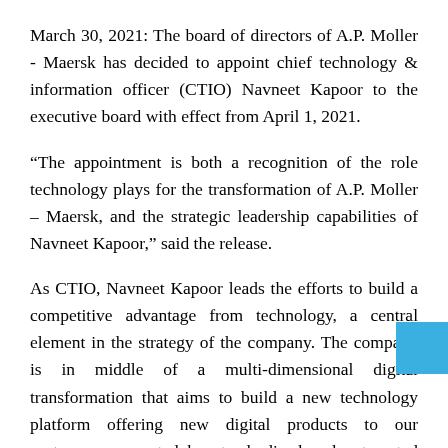March 30, 2021: The board of directors of A.P. Moller - Maersk has decided to appoint chief technology & information officer (CTIO) Navneet Kapoor to the executive board with effect from April 1, 2021.
“The appointment is both a recognition of the role technology plays for the transformation of A.P. Moller – Maersk, and the strategic leadership capabilities of Navneet Kapoor,” said the release.
As CTIO, Navneet Kapoor leads the efforts to build a competitive advantage from technology, a central element in the strategy of the company. The company is in middle of a multi-dimensional digital transformation that aims to build a new technology platform offering new digital products to our customers supported by standardized and automated processes across the